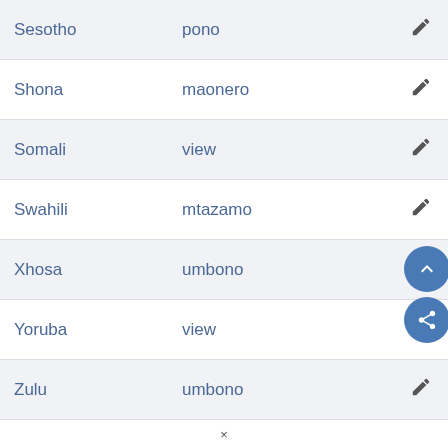| Language | Translation |  |
| --- | --- | --- |
| Sesotho | pono | edit |
| Shona | maonero | edit |
| Somali | view | edit |
| Swahili | mtazamo | edit |
| Xhosa | umbono | edit |
| Yoruba | view | edit |
| Zulu | umbono | edit |
×